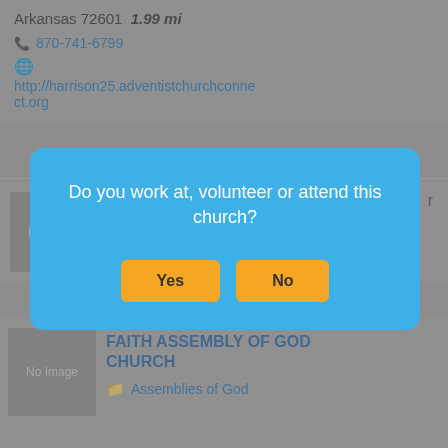Arkansas 72601  1.99 mi
870-741-6799
http://harrison25.adventistchurchconnect.org
[Figure (screenshot): No Image placeholder box for church listing]
Do you work at, volunteer or attend this church?
Yes
No
ison,
870-741-4259
[Figure (screenshot): No Image placeholder box for Faith Assembly of God Church]
FAITH ASSEMBLY OF GOD CHURCH
Assemblies of God